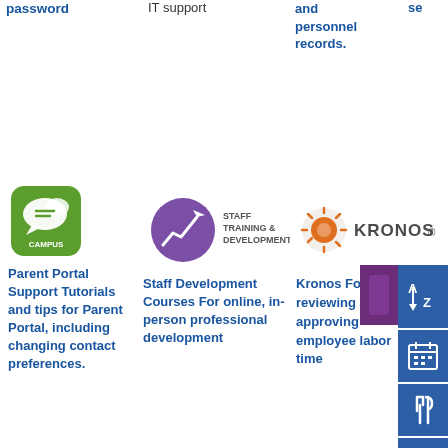password
IT support
and personnel records.
se
[Figure (logo): Campus mobile app icon - green rounded square with speech bubbles]
Parent Portal Support Tutorials and tips for Parent Portal, including changing contact preferences.
[Figure (logo): Staff Training & Development logo - purple circle with graph/arrow icon]
Staff Development Courses For online, in-person professional development
[Figure (logo): Kronos logo - orange sun/wheel icon with KRONOS text]
Kronos For reviewing and approving employee labor time
Ae Ab m an su pl (T
[Figure (infographic): Right sidebar navigation with blue buttons: AZ sort, calendar, dining, alert, snowflake/winter, chat, bus icons; and purple box]
Ca Us